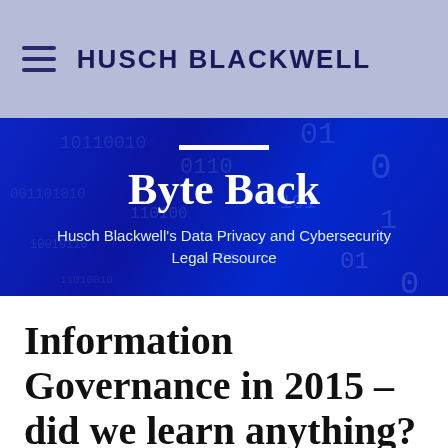HUSCH BLACKWELL
[Figure (screenshot): Blue digital binary data background banner with white decorative bar, title 'Byte Back', and subtitle 'Husch Blackwell's Data Privacy and Cybersecurity Legal Resource']
Byte Back
Husch Blackwell's Data Privacy and Cybersecurity Legal Resource
Information Governance in 2015 – did we learn anything?